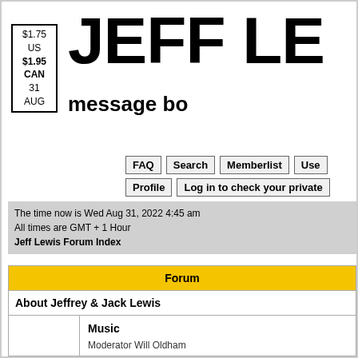JEFF LE
message bo
$1.75 US $1.95 CAN 31 AUG
FAQ  Search  Memberlist  Use
Profile  Log in to check your private
The time now is Wed Aug 31, 2022 4:45 am
All times are GMT + 1 Hour
Jeff Lewis Forum Index
| Forum |
| --- |
| About Jeffrey & Jack Lewis |
| Music
Moderator Will Oldham |
| Live
Moderator Will Oldham |